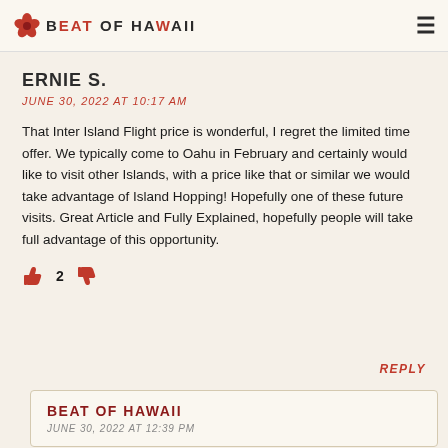Beat of Hawaii
ERNIE S.
JUNE 30, 2022 AT 10:17 AM
That Inter Island Flight price is wonderful, I regret the limited time offer. We typically come to Oahu in February and certainly would like to visit other Islands, with a price like that or similar we would take advantage of Island Hopping! Hopefully one of these future visits. Great Article and Fully Explained, hopefully people will take full advantage of this opportunity.
2 (thumbs up: 2, thumbs down: 0)
REPLY
BEAT OF HAWAII
JUNE 30, 2022 AT 12:39 PM